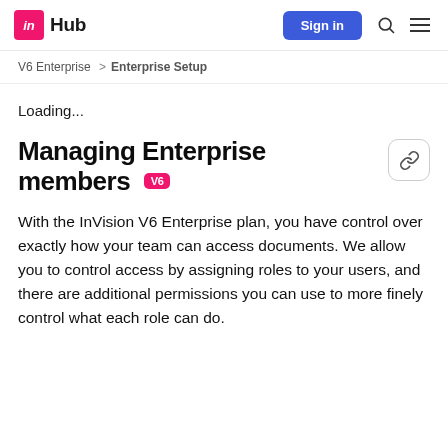in Hub | Sign in
V6 Enterprise > Enterprise Setup
Loading...
Managing Enterprise members V6
With the InVision V6 Enterprise plan, you have control over exactly how your team can access documents. We allow you to control access by assigning roles to your users, and there are additional permissions you can use to more finely control what each role can do.